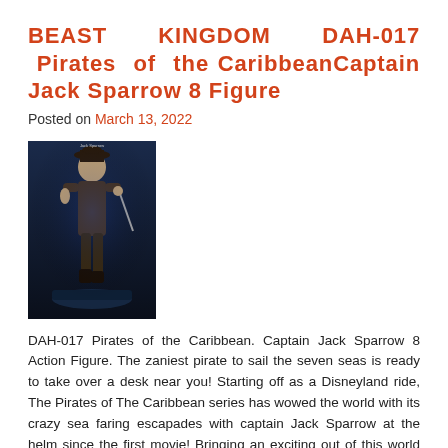BEAST KINGDOM DAH-017 Pirates of the CaribbeanCaptain Jack Sparrow 8 Figure
Posted on March 13, 2022
[Figure (photo): Product image of Beast Kingdom DAH-017 Pirates of the Caribbean Captain Jack Sparrow 8 Action Figure — a detailed figurine of Jack Sparrow against a dark blue background]
DAH-017 Pirates of the Caribbean. Captain Jack Sparrow 8 Action Figure. The zaniest pirate to sail the seven seas is ready to take over a desk near you! Starting off as a Disneyland ride, The Pirates of The Caribbean series has wowed the world with its crazy sea faring escapades with captain Jack Sparrow at the helm since the first movie! Bringing an exciting out of this world personality to the character Johnny Depp has come to personify Jack Sparrow with an unhinged yet clever performance. With a unique personality also comes a unique character design that has come to be as recognizable as some of the most famous characters in movie history. H (Dynamic 8ction Heroes) series incorporates a real to life design at a 1/9 scale, and with highly articulable joints the figures